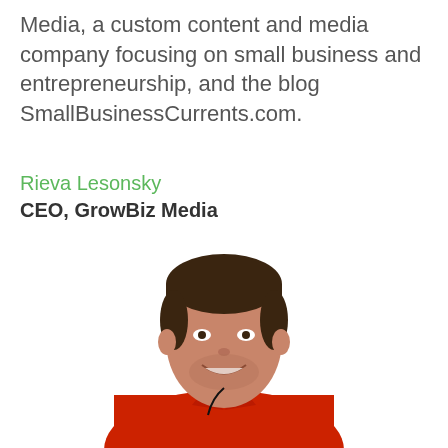Media, a custom content and media company focusing on small business and entrepreneurship, and the blog SmallBusinessCurrents.com.
Rieva Lesonsky
CEO, GrowBiz Media
[Figure (photo): Headshot photo of a smiling young man with short dark hair wearing a red polo shirt, against a white background.]